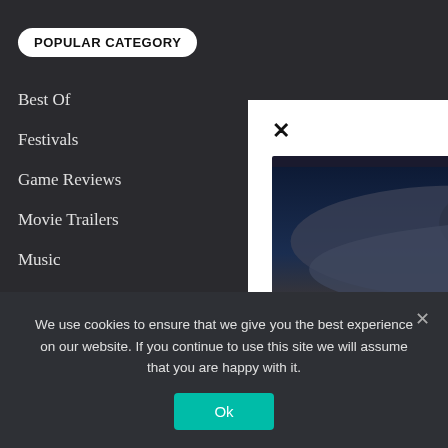POPULAR CATEGORY
Best Of
Festivals
Game Reviews
Movie Trailers
Music
Series
Tops
MORE STORIES
[Figure (screenshot): Video thumbnail showing a sci-fi cityscape with a UFO/spacecraft in dark dramatic clouds above, a silhouette of a person standing on a rooftop overlooking a futuristic city. A circular play button is overlaid in the center. A 'Best Of' tag appears in the bottom left.]
Best Of
The Week in Video Game Movie
We use cookies to ensure that we give you the best experience on our website. If you continue to use this site we will assume that you are happy with it.